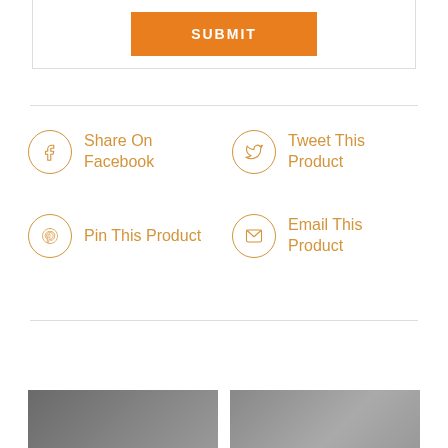[Figure (screenshot): Orange SUBMIT button inside a form box]
[Figure (infographic): Social sharing icons: Share On Facebook (Facebook icon), Tweet This Product (Twitter bird icon), Pin This Product (Pinterest icon), Email This Product (envelope icon), all in orange circle outlines with orange text]
Share On Facebook
Tweet This Product
Pin This Product
Email This Product
[Figure (photo): Two partial thumbnail photos at bottom of page]